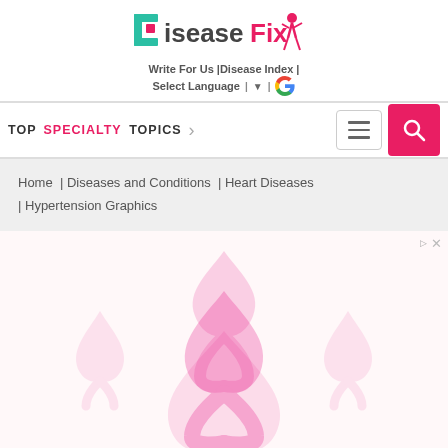DiseaseFix — Write For Us | Disease Index | Select Language
TOP SPECIALTY TOPICS
Home | Diseases and Conditions | Heart Diseases | Hypertension Graphics
[Figure (illustration): Pink awareness ribbon illustration on a light pink/white background, advertisement area with close and triangle controls in top right corner]